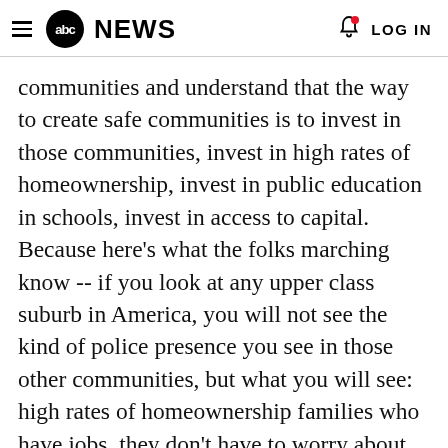abc NEWS  LOG IN
communities and understand that the way to create safe communities is to invest in those communities, invest in high rates of homeownership, invest in public education in schools, invest in access to capital. Because here's what the folks marching know -- if you look at any upper class suburb in America, you will not see the kind of police presence you see in those other communities, but what you will see: high rates of homeownership families who have jobs, they don't have to worry about paying bills by the end of the month, access to capital for small businesses, thriving public schools, and that's what we're talking about